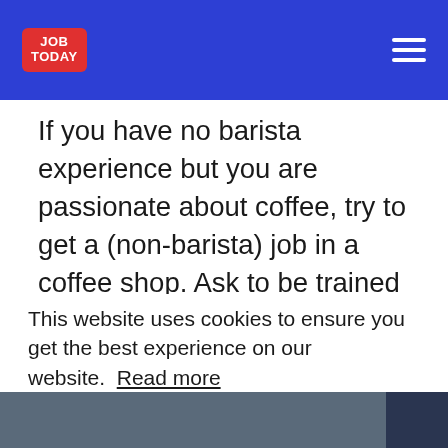JOB TODAY
If you have no barista experience but you are passionate about coffee, try to get a (non-barista) job in a coffee shop. Ask to be trained and you will become a professional barista in no time. – Geoff, Union Hand-Roasted Coffee
This website uses cookies to ensure you get the best experience on our website. Read more
Accept
[Figure (photo): Bottom portion of a webpage showing a coffee-related image strip at the bottom]